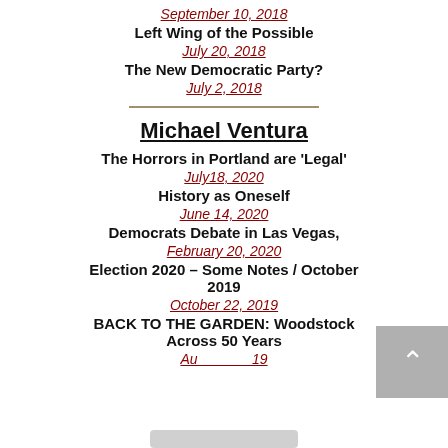Left Wing of the Possible
September 10, 2018
July 20, 2018
The New Democratic Party?
July 2, 2018
Michael Ventura
The Horrors in Portland are 'Legal'
July18, 2020
History as Oneself
June 14, 2020
Democrats Debate in Las Vegas,
February 20, 2020
Election 2020 – Some Notes / October 2019
October 22, 2019
BACK TO THE GARDEN: Woodstock Across 50 Years
Au...19